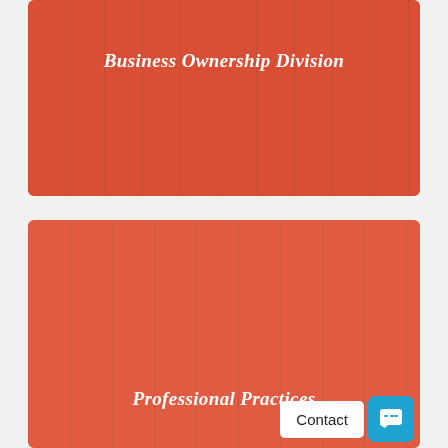[Figure (illustration): Red/orange tinted image of law books or bookshelves with text overlay 'Business Ownership Division']
Business Ownership Division
[Figure (illustration): Red/orange tinted image of legal books or document binders with text overlay 'Professional Practices']
Professional Practices